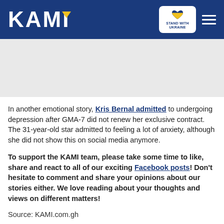KAMI — STAND WITH UKRAINE
[Figure (other): Gray advertisement banner area]
In another emotional story, Kris Bernal admitted to undergoing depression after GMA-7 did not renew her exclusive contract. The 31-year-old star admitted to feeling a lot of anxiety, although she did not show this on social media anymore.
To support the KAMI team, please take some time to like, share and react to all of our exciting Facebook posts! Don't hesitate to comment and share your opinions about our stories either. We love reading about your thoughts and views on different matters!
Source: KAMI.com.gh